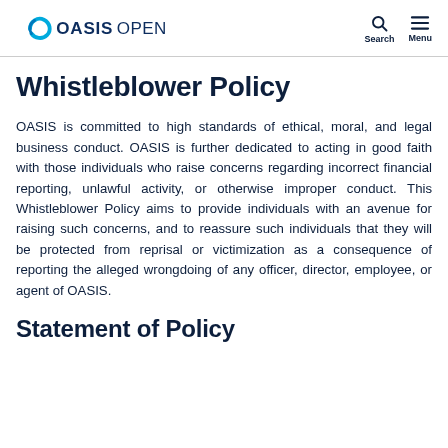OASIS OPEN
Whistleblower Policy
OASIS is committed to high standards of ethical, moral, and legal business conduct. OASIS is further dedicated to acting in good faith with those individuals who raise concerns regarding incorrect financial reporting, unlawful activity, or otherwise improper conduct. This Whistleblower Policy aims to provide individuals with an avenue for raising such concerns, and to reassure such individuals that they will be protected from reprisal or victimization as a consequence of reporting the alleged wrongdoing of any officer, director, employee, or agent of OASIS.
Statement of Policy